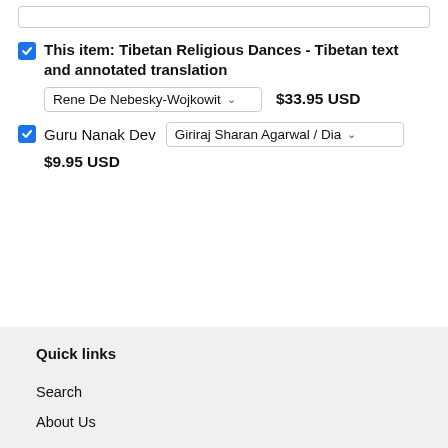This item: Tibetan Religious Dances - Tibetan text and annotated translation
Rene De Nebesky-Wojkowit  $33.95 USD
Guru Nanak Dev  Giriraj Sharan Agarwal / Dia  $9.95 USD
Quick links
Search
About Us